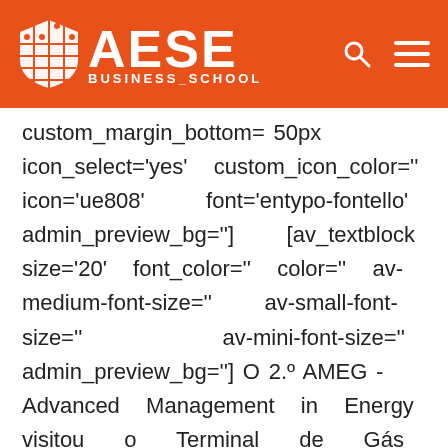AESE BUSINESS_SCHOOL
custom_margin_bottom='50px' icon_select='yes' custom_icon_color='' icon='ue808' font='entypo-fontello' admin_preview_bg=''] [av_textblock size='20' font_color='' color='' av-medium-font-size='' av-small-font-size='' av-mini-font-size='' admin_preview_bg=''] O 2.º AMEG - Advanced Management in Energy visitou o Terminal de Gás Natural Liquefeito da REN e a Central